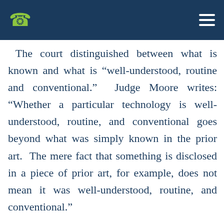[Navigation header with phone icon and hamburger menu]
The court distinguished between what is known and what is “well-understood, routine and conventional.”  Judge Moore writes: “Whether a particular technology is well-understood, routine, and conventional goes beyond what was simply known in the prior art.  The mere fact that something is disclosed in a piece of prior art, for example, does not mean it was well-understood, routine, and conventional.”
Aatrix, decided February 14, 2018, doubled down